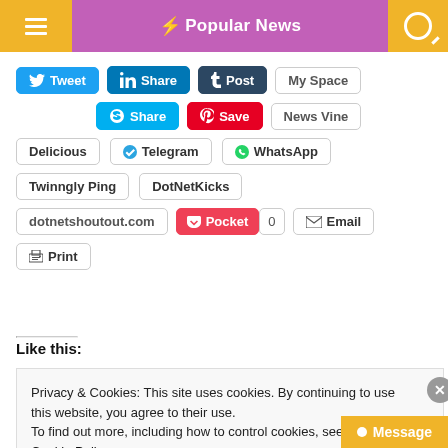Popular News
Tweet
Share (LinkedIn)
Post (Tumblr)
My Space
Share (Skype)
Save (Pinterest)
News Vine
Delicious
Telegram
WhatsApp
Twinngly Ping
DotNetKicks
dotnetshoutout.com
Pocket 0
Email
Print
Like this:
Privacy & Cookies: This site uses cookies. By continuing to use this website, you agree to their use. To find out more, including how to control cookies, see here: Cookie Policy
Close and accept
Message